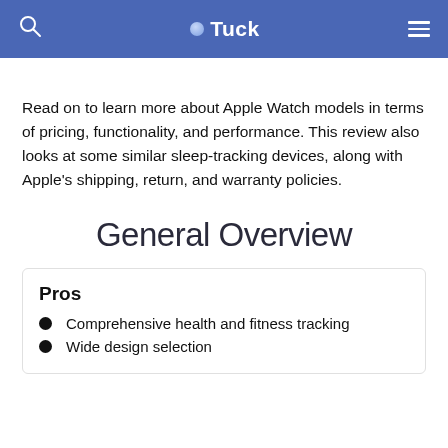Tuck
Read on to learn more about Apple Watch models in terms of pricing, functionality, and performance. This review also looks at some similar sleep-tracking devices, along with Apple’s shipping, return, and warranty policies.
General Overview
Pros
Comprehensive health and fitness tracking
Wide design selection